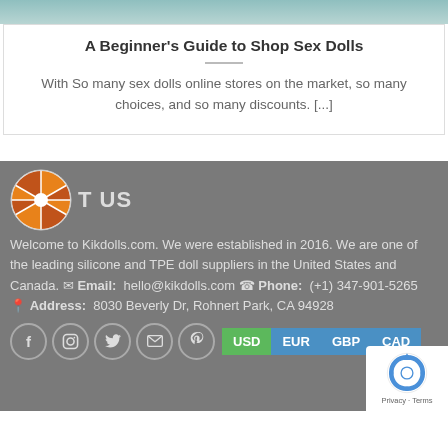[Figure (photo): Top portion of a photo showing what appears to be a doll or figure, cropped, with teal/cyan tones]
A Beginner’s Guide to Shop Sex Dolls
With So many sex dolls online stores on the market, so many choices, and so many discounts. [...]
ABOUT US
Welcome to Kikdolls.com. We were established in 2016. We are one of the leading silicone and TPE doll suppliers in the United States and Canada. ✉ Email: hello@kikdolls.com 📞 Phone: (+1) 347-901-5265 📍 Address: 8030 Beverly Dr, Rohnert Park, CA 94928
[Figure (logo): reCAPTCHA badge with circular reCAPTCHA logo and Privacy - Terms text]